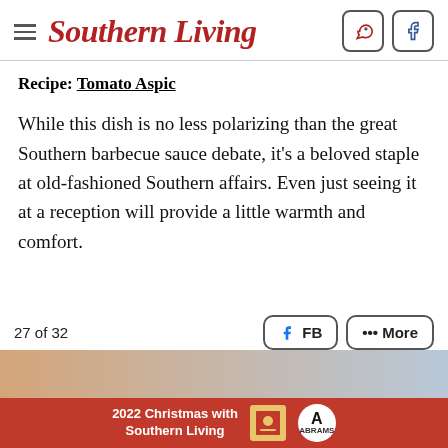Southern Living
Recipe: Tomato Aspic
While this dish is no less polarizing than the great Southern barbecue sauce debate, it's a beloved staple at old-fashioned Southern affairs. Even just seeing it at a reception will provide a little warmth and comfort.
27 of 32
[Figure (other): Advertisement banner for 2022 Christmas with Southern Living book, published by Abrams]
2022 Christmas with Southern Living